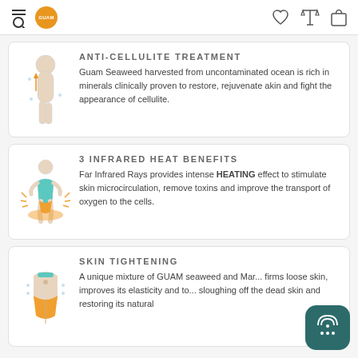GUAM (logo) — navigation header with search, wishlist, compare, and cart icons
ANTI-CELLULITE TREATMENT
Guam Seaweed harvested from uncontaminated ocean is rich in minerals clinically proven to restore, rejuvenate akin and fight the appearance of cellulite.
3 INFRARED HEAT BENEFITS
Far Infrared Rays provides intense HEATING effect to stimulate skin microcirculation, remove toxins and improve the transport of oxygen to the cells.
SKIN TIGHTENING
A unique mixture of GUAM seaweed and Mar... firms loose skin, improves its elasticity and to... sloughing off the dead skin and restoring its natural...